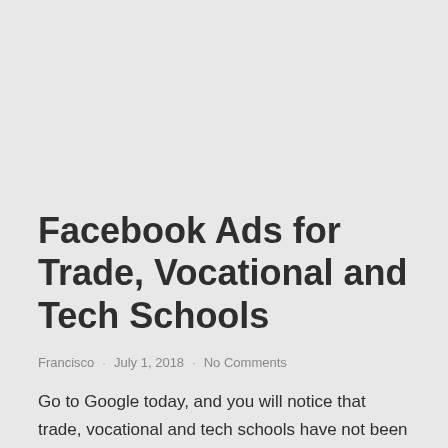Facebook Ads for Trade, Vocational and Tech Schools
Francisco · July 1, 2018 · No Comments
Go to Google today, and you will notice that trade, vocational and tech schools have not been left out of the ongoing Facebook bandwagon. That's ...